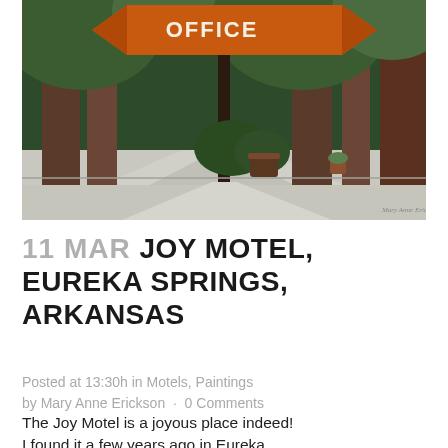[Figure (illustration): Painting of a motel office sign with orange arrow pointing left, surrounded by tall trees, with a driveway and shrubs in the background. Artist signature visible in bottom right corner.]
11 MAR JOY MOTEL, EUREKA SPRINGS, ARKANSAS
Posted at 13:30h in Motels, Paintings by Mary Anne Erickson · 0 Comments
The Joy Motel is a joyous place indeed! I found it a few years ago in Eureka Springs, Arkansas, when I was on a